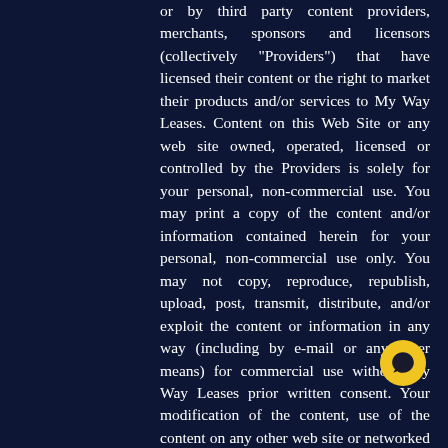or by third party content providers, merchants, sponsors and licensors (collectively "Providers") that have licensed their content or the right to market their products and/or services to My Way Leases. Content on this Web Site or any web site owned, operated, licensed or controlled by the Providers is solely for your personal, non-commercial use. You may print a copy of the content and/or information contained herein for your personal, non-commercial use only. You may not copy, reproduce, republish, upload, post, transmit, distribute, and/or exploit the content or information in any way (including by e-mail or any other means) for commercial use without My Way Leases prior written consent. Your modification of the content, use of the content on any other web site or networked computer environment, or use of the content for any purpose other than for personal, noncommercial use, violates the rights of the owners of the My Way Leases and/or the Provider copyrights, trademarks or service marks and other proprietary rights, and is expressly prohibited. As a condition to your use of this Web Site, you agree to My Way...